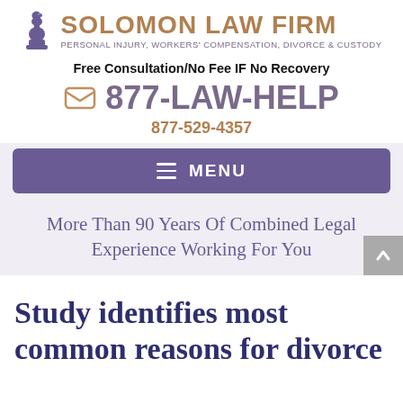[Figure (logo): Solomon Law Firm logo with chess knight icon, firm name in gold/tan, and tagline 'Personal Injury, Workers Compensation, Divorce & Custody' in purple]
Free Consultation/No Fee IF No Recovery
877-LAW-HELP
877-529-4357
[Figure (screenshot): Purple navigation menu bar with hamburger icon and MENU text]
More Than 90 Years Of Combined Legal Experience Working For You
Study identifies most common reasons for divorce